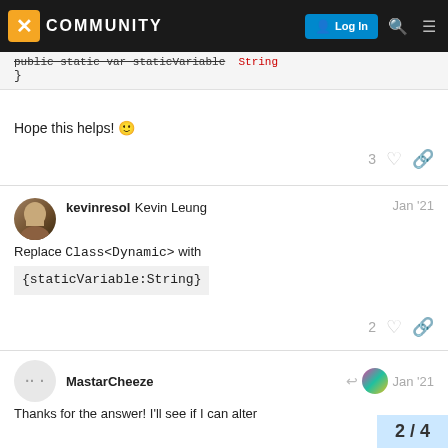COMMUNITY | Log In
public static var staticVariable  String
}
Hope this helps! 🙂
3 likes, link
kevinresol  Kevin Leung  Jan '21
Replace Class<Dynamic> with
{staticVariable:String}
2 likes, link
MastarCheeze  Jan '21
Thanks for the answer! I'll see if I can alter
2 / 4